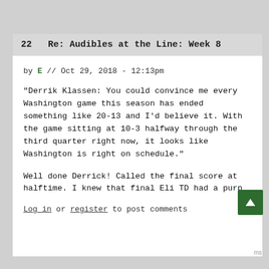22  Re: Audibles at the Line: Week 8
by E // Oct 29, 2018 - 12:13pm
"Derrik Klassen: You could convince me every Washington game this season has ended something like 20-13 and I'd believe it. With the game sitting at 10-3 halfway through the third quarter right now, it looks like Washington is right on schedule."
Well done Derrick! Called the final score at halftime. I knew that final Eli TD had a purp
Log in or register to post comments